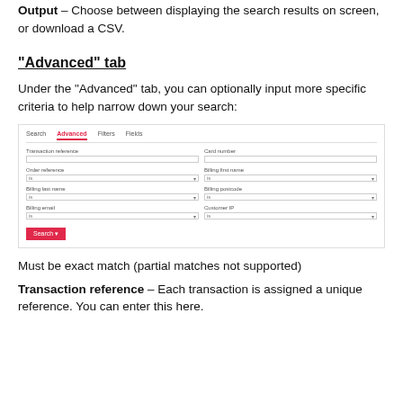Output – Choose between displaying the search results on screen, or download a CSV.
"Advanced" tab
Under the "Advanced" tab, you can optionally input more specific criteria to help narrow down your search:
[Figure (screenshot): UI screenshot showing the Advanced tab of a search form with fields: Transaction reference, Card number, Order reference, Billing first name, Billing last name, Billing postcode, Billing email, Customer IP. A red Search button is shown at the bottom.]
Must be exact match (partial matches not supported)
Transaction reference – Each transaction is assigned a unique reference. You can enter this here.